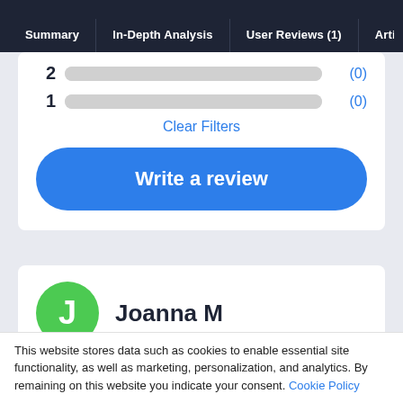Summary | In-Depth Analysis | User Reviews (1) | Artic...
2   (0)
1   (0)
Clear Filters
Write a review
J  Joanna M
No employees
Used for: 2+ years
This website stores data such as cookies to enable essential site functionality, as well as marketing, personalization, and analytics. By remaining on this website you indicate your consent. Cookie Policy